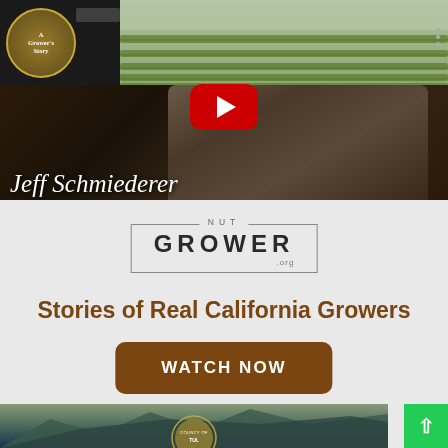[Figure (screenshot): YouTube video thumbnail showing aerial view of farm rows (vineyard/orchard) with a circular channel logo 'A Grower's Story' in top left and a red YouTube play button in center. The lower portion shows a close-up of a man's face (Jeff Schmiederer) against a dark background.]
Jeff Schmiederer
[Figure (logo): NUT GROWER .org logo with rectangular border, 'NUT' in small spaced caps above 'GROWER' in large bold letters, and '.org' below right]
Stories of Real California Growers
WATCH NOW
[Figure (screenshot): Partial screenshot of another video thumbnail showing mountainous landscape background with a County of Tulare official seal partially visible at the bottom]